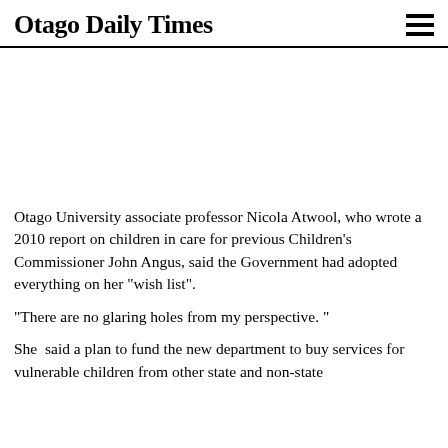Otago Daily Times
[Figure (photo): Photograph placeholder area (white/blank image region)]
Otago University associate professor Nicola Atwool, who wrote a 2010 report on children in care for previous Children's Commissioner John Angus, said the Government had adopted everything on her "wish list".
"There are no glaring holes from my perspective. "
She  said a plan to fund the new department to buy services for vulnerable children from other state and non-state